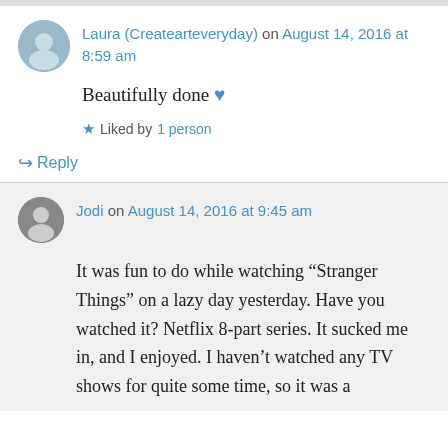Laura (Createarteveryday) on August 14, 2016 at 8:59 am
Beautifully done 💙
Liked by 1 person
↳ Reply
Jodi on August 14, 2016 at 9:45 am
It was fun to do while watching "Stranger Things" on a lazy day yesterday. Have you watched it? Netflix 8-part series. It sucked me in, and I enjoyed. I haven't watched any TV shows for quite some time, so it was a